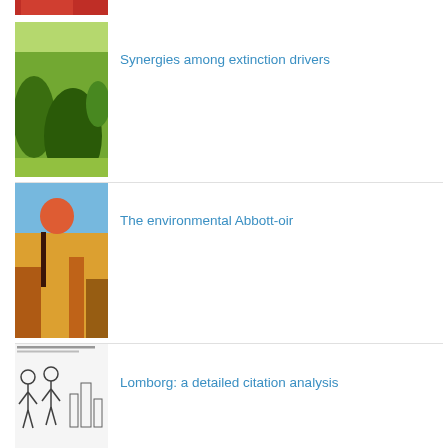[Figure (photo): Partial top image showing red/orange colors, possibly a person]
[Figure (photo): Green rolling landscape with trees and fields]
Synergies among extinction drivers
[Figure (illustration): Colorful painting of figures near ocean/landscape]
The environmental Abbott-oir
[Figure (illustration): Black and white cartoon/sketch with figures]
Lomborg: a detailed citation analysis
[Figure (photo): Black and white photo of two people sitting]
Hot inbreeding
[Figure (photo): Partial bottom image, colorful]
Conservation quotes: Attenborough to Irwin